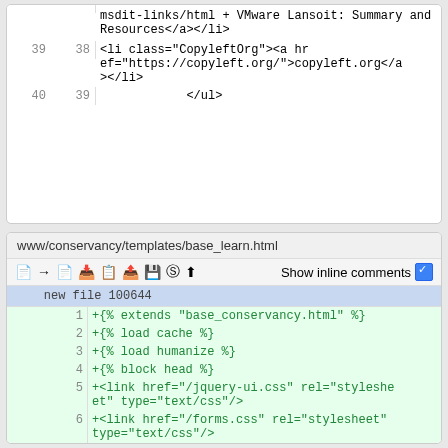[Figure (screenshot): Top diff panel showing HTML code lines 39-40 with line numbers. Line 39/38: <li class='CopyleftOrg'><a href='https://copyleft.org/'>copyleft.org</a></li>. Line 40/39: </ul>]
[Figure (screenshot): Bottom diff panel for www/conservancy/templates/base_learn.html showing new file 100644 and lines 1-12 of added code with green highlighting. Includes toolbar with icons and Show inline comments checkbox.]